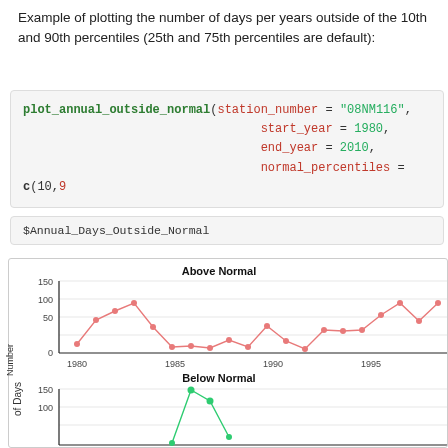Example of plotting the number of days per years outside of the 10th and 90th percentiles (25th and 75th percentiles are default):
[Figure (screenshot): R code block: plot_annual_outside_normal(station_number = "08NM116", start_year = 1980, end_year = 2010, normal_percentiles = c(10, 9...]
$Annual_Days_Outside_Normal
[Figure (line-chart): Two-panel line chart showing Above Normal (top, salmon/pink line with dots) and Below Normal (bottom, green line with dots) number of days per year from 1980 to ~1999. Y-axis: Number of Days. X-axis: years 1980, 1985, 1990, 1995.]